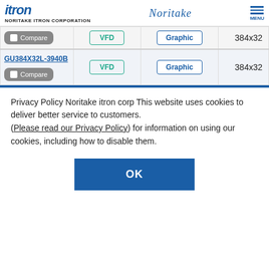itron NORITAKE ITRON CORPORATION | Noritake | MENU
| Product | Type | Display | Resolution |
| --- | --- | --- | --- |
| [Compare] | VFD | Graphic | 384x32 |
| GU384X32L-3940B [Compare] | VFD | Graphic | 384x32 |
Privacy Policy Noritake itron corp This website uses cookies to deliver better service to customers. (Please read our Privacy Policy) for information on using our cookies, including how to disable them.
OK